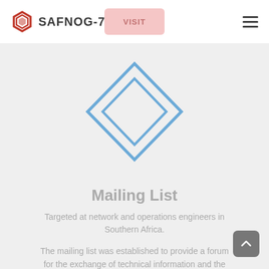SAFNOG-7
[Figure (logo): SAFNOG-7 hexagonal red logo with text SAFNOG-7]
[Figure (illustration): Two concentric blue diamond/rhombus outlines forming a mailing list icon]
Mailing List
Targeted at network and operations engineers in Southern Africa.
The mailing list was established to provide a forum for the exchange of technical information and the discussion of specific implementation issues that require cooperation among network service